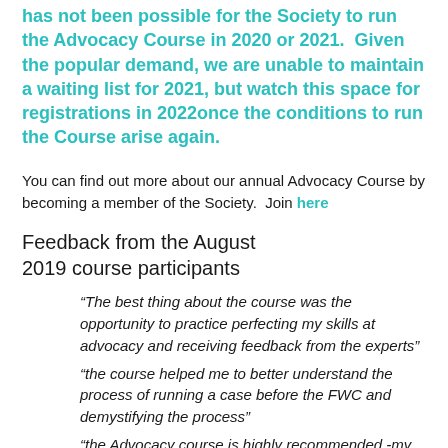has not been possible for the Society to run the Advocacy Course in 2020 or 2021.  Given the popular demand, we are unable to maintain a waiting list for 2021, but watch this space for registrations in 2022once the conditions to run the Course arise again.
You can find out more about our annual Advocacy Course by becoming a member of the Society.  Join here
Feedback from the August 2019 course participants
“The best thing about the course was the opportunity to practice perfecting my skills at advocacy and receiving feedback from the experts”
“the course helped me to better understand the process of running a case before the FWC and demystifying the process”
“the Advocacy course is highly recommended -my